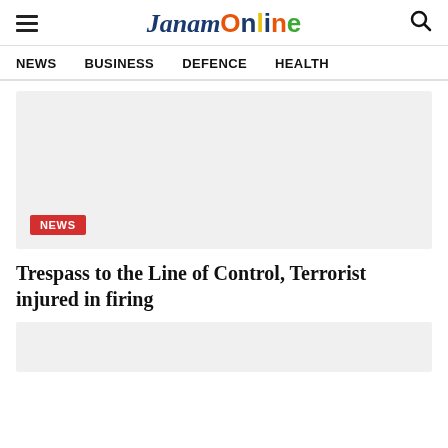JanamOnline
NEWS   BUSINESS   DEFENCE   HEALTH
[Figure (photo): Light gray placeholder image for a news article with a red NEWS badge in the bottom left corner]
Trespass to the Line of Control, Terrorist injured in firing
[Figure (photo): Partial light gray placeholder image at the bottom of the page]